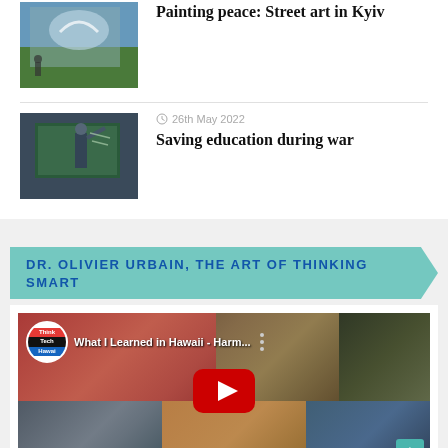[Figure (photo): Street art photo - mural with hands, building wall with greenery]
Painting peace: Street art in Kyiv
[Figure (photo): Person writing on chalkboard in dark room]
26th May 2022
Saving education during war
DR. OLIVIER URBAIN, THE ART OF THINKING SMART
[Figure (screenshot): YouTube video thumbnail: What I Learned in Hawaii - Harm... with ThinkTech Hawaii logo and collage of people's faces, red play button overlay]